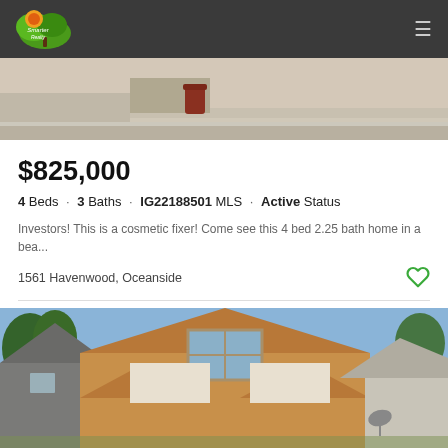Navigation bar with logo and hamburger menu
[Figure (photo): Top portion of a street-level exterior photo showing a sidewalk and landscaping]
$825,000
4 Beds · 3 Baths · IG22188501 MLS · Active Status
Investors! This is a cosmetic fixer! Come see this 4 bed 2.25 bath home in a bea...
1561 Havenwood, Oceanside
Listing courtesy of Listing Agent: Lydia Kray (Lydia Kray) from Listing Office: Realty Masters & Associates.
[Figure (photo): Exterior photo of residential houses with peaked roofs, tan/cream siding, showing rooftop and upper story details against a blue sky with trees]